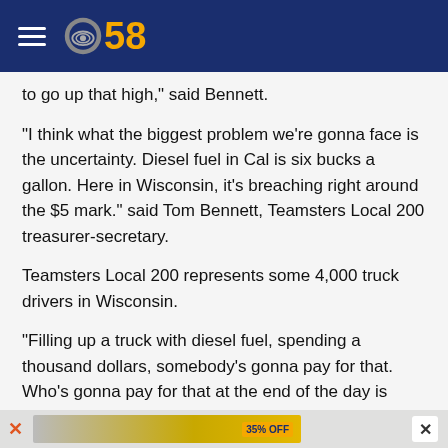CBS 58
to go up that high," said Bennett.
"I think what the biggest problem we're gonna face is the uncertainty. Diesel fuel in Cal is six bucks a gallon. Here in Wisconsin, it's breaching right around the $5 mark." said Tom Bennett, Teamsters Local 200 treasurer-secretary.
Teamsters Local 200 represents some 4,000 truck drivers in Wisconsin.
"Filling up a truck with diesel fuel, spending a thousand dollars, somebody's gonna pay for that. Who's gonna pay for that at the end of the day is gonna be the consumer," said Bennett.